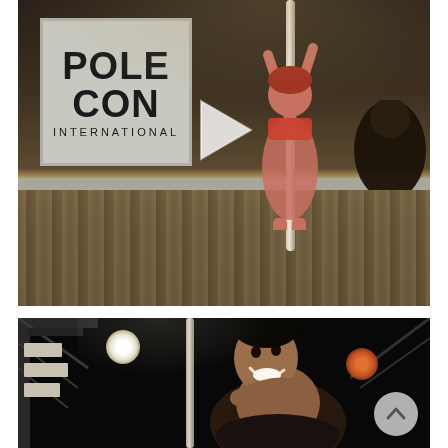[Figure (photo): Video thumbnail showing a performer on a pole on stage at PoleCon International. A 'POLE CON INTERNATIONAL' sign is visible on the left. A play button overlay is visible in the center. An audience member is visible in the lower right foreground.]
[Figure (photo): Photo of a smiling performer in dark attire on a pole on a dark stage with stage lighting and truss visible. A partial sign or banner is visible on the left edge. A scroll-to-top button is visible in the lower right corner.]